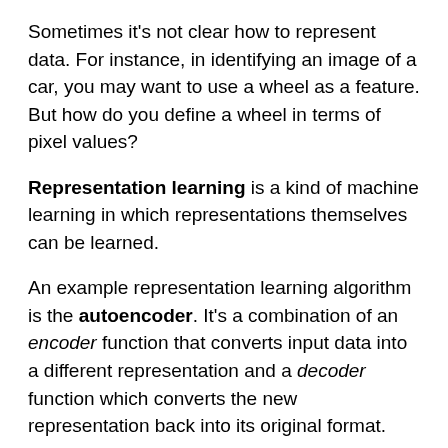Sometimes it's not clear how to represent data. For instance, in identifying an image of a car, you may want to use a wheel as a feature. But how do you define a wheel in terms of pixel values?
Representation learning is a kind of machine learning in which representations themselves can be learned.
An example representation learning algorithm is the autoencoder. It's a combination of an encoder function that converts input data into a different representation and a decoder function which converts the new representation back into its original format.
Successful representations separate the factors of variations (that is, the contributors to variability) in the observed data. These may not be explicit in the data, "they may exist either as unobserved objects or forces in the physical world that affect the observable...